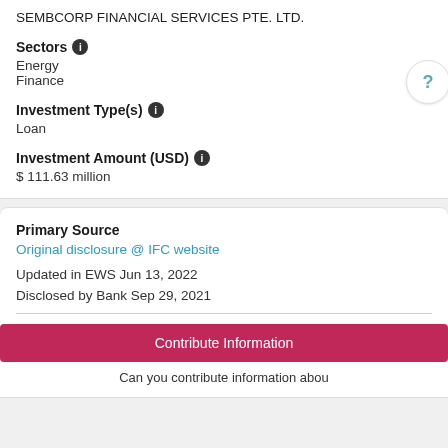SEMBCORP FINANCIAL SERVICES PTE. LTD.
Sectors
Energy
Finance
Investment Type(s)
Loan
Investment Amount (USD)
$ 111.63 million
Primary Source
Original disclosure @ IFC website
Updated in EWS Jun 13, 2022
Disclosed by Bank Sep 29, 2021
Contribute Information
Can you contribute information abou